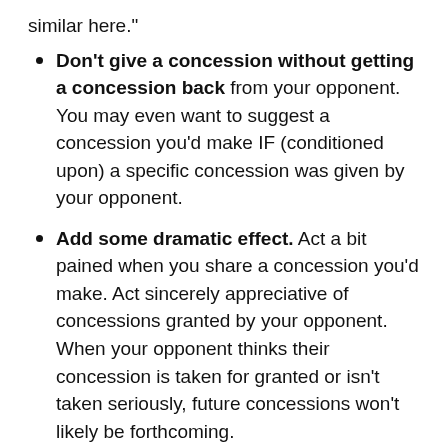similar here."
Don't give a concession without getting a concession back from your opponent. You may even want to suggest a concession you'd make IF (conditioned upon) a specific concession was given by your opponent.
Add some dramatic effect. Act a bit pained when you share a concession you'd make. Act sincerely appreciative of concessions granted by your opponent. When your opponent thinks their concession is taken for granted or isn't taken seriously, future concessions won't likely be forthcoming.
Good negotiators have an ever evolving concession strategy.